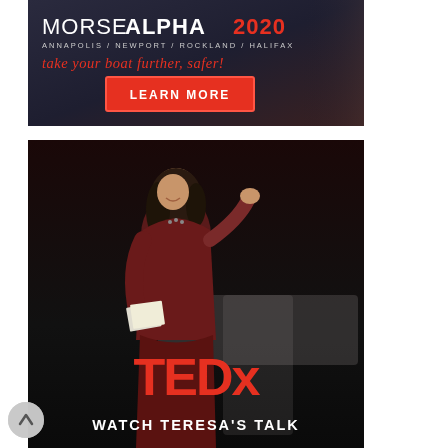[Figure (illustration): Advertisement banner for MorseAlpha 2020 sailing event with locations Annapolis / Newport / Rockland / Halifax, tagline 'take your boat further, safer!' and a red LEARN MORE button, dark navy/grey background with blurred sailing imagery]
[Figure (photo): TEDx talk promotional image showing a woman in a dark red dress speaking on stage, holding papers, with a large TEDx logo visible in the background and text 'WATCH TERESA'S TALK' at the bottom]